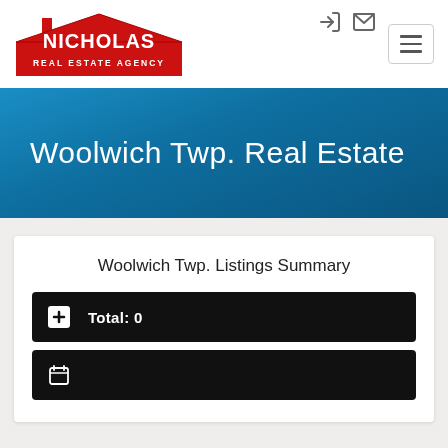[Figure (logo): Nicholas Real Estate Agency red house logo with white text]
Woolwich Twp. Real Estate
Woolwich Twp. Listings Summary
Total: 0